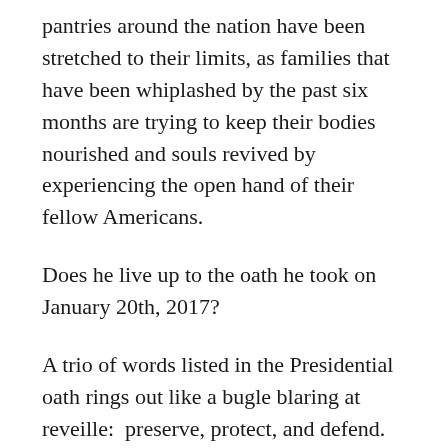pantries around the nation have been stretched to their limits, as families that have been whiplashed by the past six months are trying to keep their bodies nourished and souls revived by experiencing the open hand of their fellow Americans.
Does he live up to the oath he took on January 20th, 2017?
A trio of words listed in the Presidential oath rings out like a bugle blaring at reveille:  preserve, protect, and defend.
Preserve the health and wealth of fellow Americans by using all levels of power in your